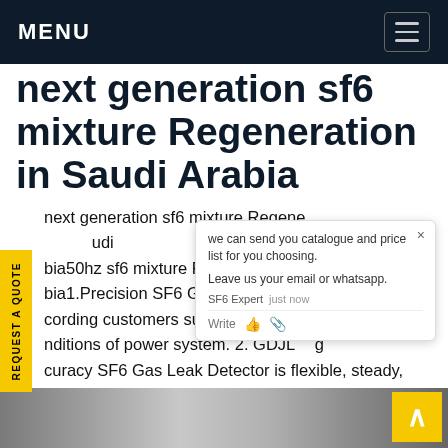MENU
next generation sf6 mixture Regeneration in Saudi Arabia
next generation sf6 mixture Regeneration in Saudi Arabia50hz sf6 mixture Reclamation in Saudi Arabia1.Precision SF6 Gas Leak Detector is designed according customers suggestion and conditions of power system. 2. GDJL High accuracy SF6 Gas Leak Detector is flexible, steady, fast response, easy to operate, large movable ion, can test SF6 breaker, GIS leakage and annual leakage ratioGet price
[Figure (screenshot): Chat popup with message: we can send you catalogue and price list for you choosing. Leave us your email or whatsapp. SF6 Expert just now. Write buttons.]
[Figure (photo): Bottom strip showing industrial/electrical equipment photos]